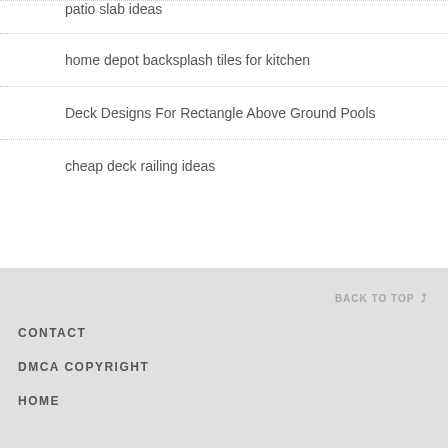patio slab ideas
home depot backsplash tiles for kitchen
Deck Designs For Rectangle Above Ground Pools
cheap deck railing ideas
BACK TO TOP  CONTACT  DMCA COPYRIGHT  HOME